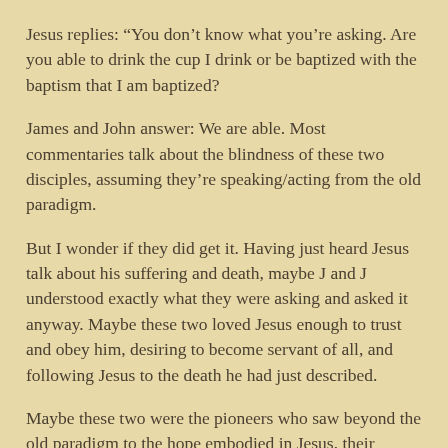Jesus replies: “You don’t know what you’re asking. Are you able to drink the cup I drink or be baptized with the baptism that I am baptized?
James and John answer: We are able. Most commentaries talk about the blindness of these two disciples, assuming they’re speaking/acting from the old paradigm.
But I wonder if they did get it. Having just heard Jesus talk about his suffering and death, maybe J and J understood exactly what they were asking and asked it anyway. Maybe these two loved Jesus enough to trust and obey him, desiring to become servant of all, and following Jesus to the death he had just described.
Maybe these two were the pioneers who saw beyond the old paradigm to the hope embodied in Jesus, their savior.
The other disciples got angry at them. Maybe they’re the ones hearing this conversation from the old paradigm. Then their anger makes sense… there go the sons of Zebedee